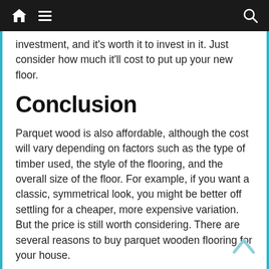Navigation bar with home, menu, and search icons
investment, and it's worth it to invest in it. Just consider how much it'll cost to put up your new floor.
Conclusion
Parquet wood is also affordable, although the cost will vary depending on factors such as the type of timber used, the style of the flooring, and the overall size of the floor. For example, if you want a classic, symmetrical look, you might be better off settling for a cheaper, more expensive variation. But the price is still worth considering. There are several reasons to buy parquet wooden flooring for your house.